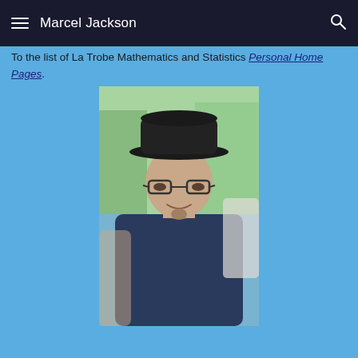Marcel Jackson
To the list of La Trobe Mathematics and Statistics Personal Home Pages.
[Figure (photo): Photo of Marcel Jackson, a man wearing a black cowboy hat, glasses, and a dark blue shirt, smiling at the camera. Background shows outdoor setting with greenery.]